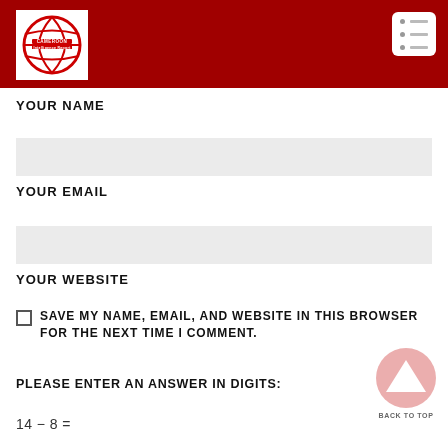Cameroon Intelligence Report
YOUR NAME
YOUR EMAIL
YOUR WEBSITE
SAVE MY NAME, EMAIL, AND WEBSITE IN THIS BROWSER FOR THE NEXT TIME I COMMENT.
PLEASE ENTER AN ANSWER IN DIGITS:
14 − 8 =